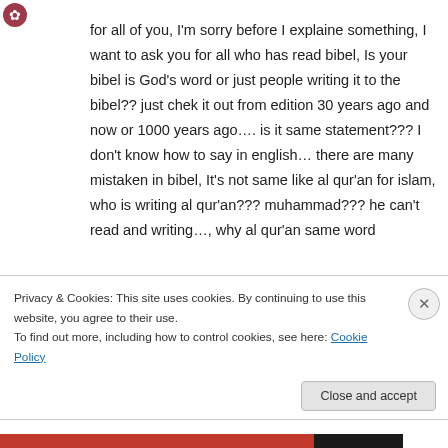[Figure (logo): Small decorative logo/icon in top left corner]
for all of you, I'm sorry before I explaine something, I want to ask you for all who has read bibel, Is your bibel is God's word or just people writing it to the bibel?? just chek it out from edition 30 years ago and now or 1000 years ago…. is it same statement??? I don't know how to say in english… there are many mistaken in bibel, It's not same like al qur'an for islam, who is writing al qur'an??? muhammad??? he can't read and writing…, why al qur'an same word
Privacy & Cookies: This site uses cookies. By continuing to use this website, you agree to their use.
To find out more, including how to control cookies, see here: Cookie Policy
Close and accept